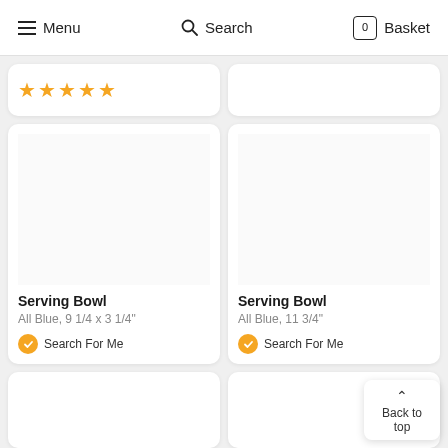Menu  Search  Basket
★★★★★
Serving Bowl
All Blue, 9 1/4 x 3 1/4"
Search For Me
Serving Bowl
All Blue, 11 3/4"
Search For Me